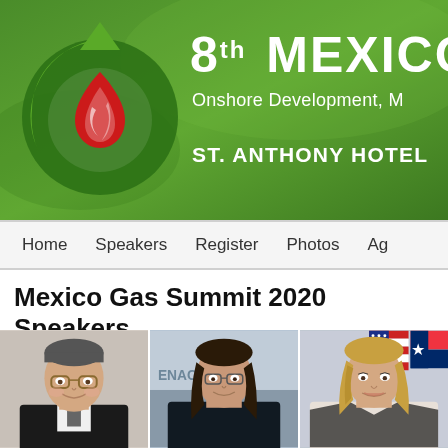[Figure (logo): 8th Mexico Gas Summit banner with green background, flame/droplet logo, title '8th MEXICO', subtitle 'Onshore Development, M', venue 'ST. ANTHONY HOTEL']
Home   Speakers   Register   Photos   Ag
Mexico Gas Summit 2020 Speakers
[Figure (photo): Three speaker headshot photos side by side: older man with glasses smiling, woman with dark hair in professional setting, woman with blonde hair in front of American and Texas flags]